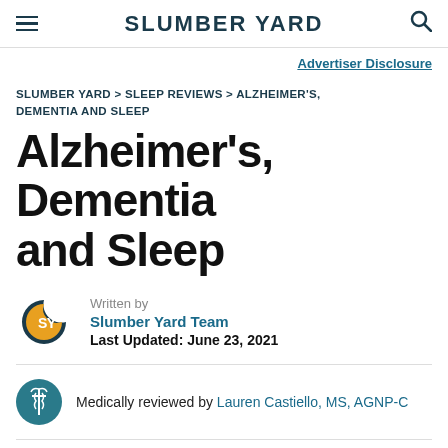SLUMBER YARD
Advertiser Disclosure
SLUMBER YARD > SLEEP REVIEWS > ALZHEIMER'S, DEMENTIA AND SLEEP
Alzheimer's, Dementia and Sleep
Written by
Slumber Yard Team
Last Updated: June 23, 2021
Medically reviewed by Lauren Castiello, MS, AGNP-C